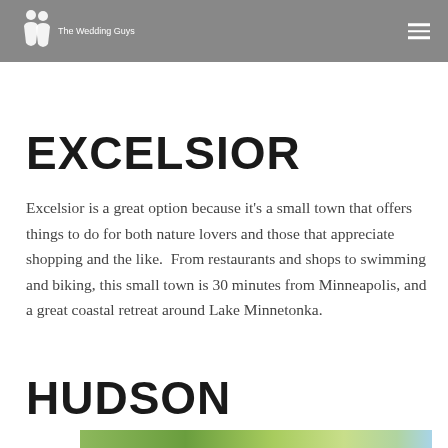The Wedding Guys
looking for a quick summer getaway. There is just so much to do in this town, you can check out more here.
EXCELSIOR
Excelsior is a great option because it's a small town that offers things to do for both nature lovers and those that appreciate shopping and the like.  From restaurants and shops to swimming and biking, this small town is 30 minutes from Minneapolis, and a great coastal retreat around Lake Minnetonka.
HUDSON
[Figure (photo): Outdoor photo showing green tree branches and foliage against a bright sky]